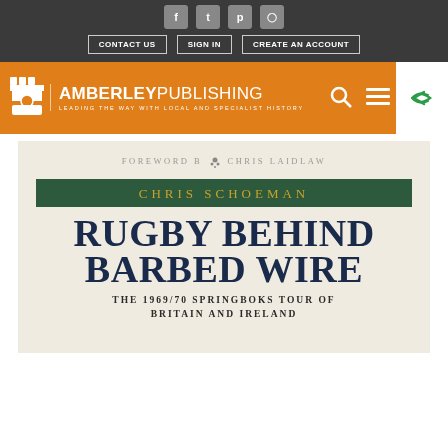CONTACT US | SIGN IN | CREATE AN ACCOUNT
[Figure (logo): Amberley Publishing logo with orange header bar, search and menu icons]
FOREWORD BY CHRIS LAIDLAW
CHRIS SCHOEMAN
RUGBY BEHIND BARBED WIRE
THE 1969/70 SPRINGBOKS TOUR OF BRITAIN AND IRELAND